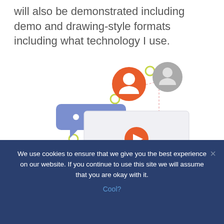will also be demonstrated including demo and drawing-style formats including what technology I use.
[Figure (illustration): Illustration of a video player interface with user avatars connected by dashed lines, a chat bubble, circular decorative elements in yellow-green, and a play button in the center of the player. Avatars shown: orange (top center), gray (top right), green (bottom left), purple (bottom right).]
We use cookies to ensure that we give you the best experience on our website. If you continue to use this site we will assume that you are okay with it.
Cool?